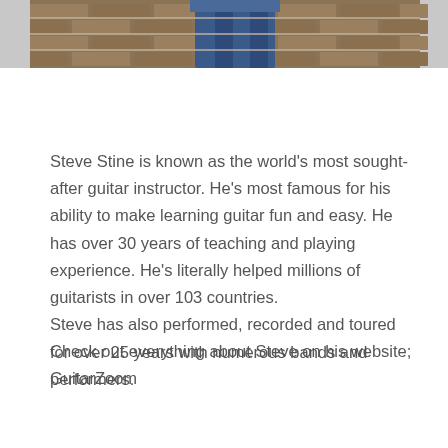[Figure (photo): Partial photo of a person (Steve Stine) against a brick wall background, cropped at the bottom of jeans/legs visible at top of page]
Steve Stine is known as the world's most sought-after guitar instructor. He's most famous for his ability to make learning guitar fun and easy. He has over 30 years of teaching and playing experience. He's literally helped millions of guitarists in over 103 countries.
Steve has also performed, recorded and toured for over 25 years with numerous bands and performers.
Check out everything about Steve on his website;
GuitarZoom